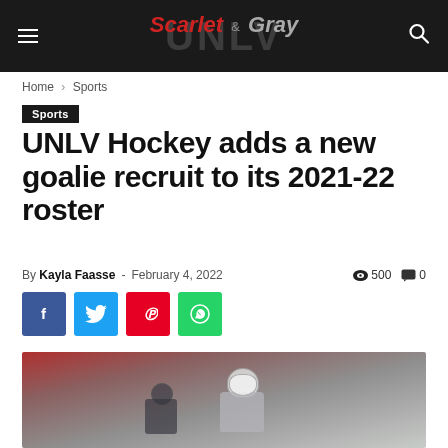The Scarlet & Gray — UNLV student newspaper header
Home › Sports
Sports
UNLV Hockey adds a new goalie recruit to its 2021-22 roster
By Kayla Faasse - February 4, 2022  500  0
[Figure (photo): Social share buttons: Facebook, Twitter, Pinterest, WhatsApp]
[Figure (photo): Photo of a hockey goalie player at an ice rink, wearing a decorated goalie helmet, with red arena seats in background]